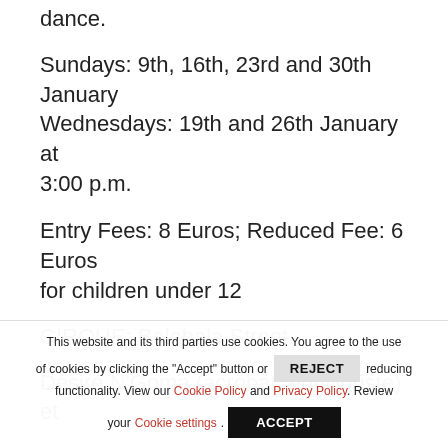dance.
Sundays: 9th, 16th, 23rd and 30th January Wednesdays: 19th and 26th January at 3:00 p.m.
Entry Fees: 8 Euros; Reduced Fee: 6 Euros for children under 12
CIRQUE: Balabala Street
Désiré N'Goma (acrobat, équilibriste) et
This website and its third parties use cookies. You agree to the use of cookies by clicking the "Accept" button or REJECT reducing functionality. View our Cookie Policy and Privacy Policy. Review your Cookie settings. ACCEPT